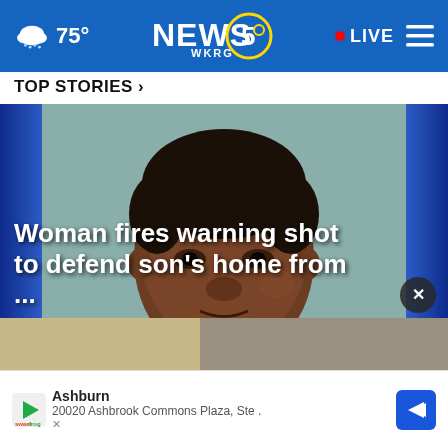NEWS 5 WKRG | 75° | LIVE
TOP STORIES ›
[Figure (photo): Mugshot photo of a Black man with short curly dark hair against a gray-green background, close-up face shot]
Woman fires warning shot to defend son's home from ...
[Figure (photo): Partial view of another news story image at the bottom of the screen]
Ashburn
20020 Ashbrook Commons Plaza, Ste .